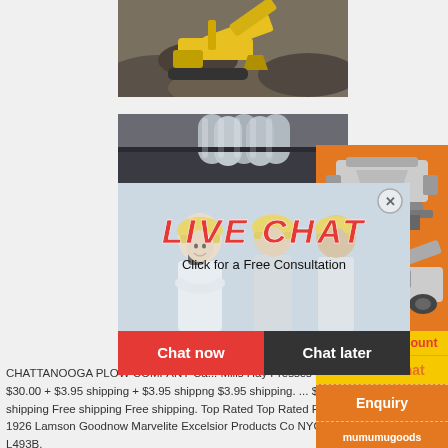[Figure (photo): Mining excavator working on rocky terrain, yellow machinery visible]
[Figure (photo): Industrial facility with large metal silos/cylinders and dark roofing]
[Figure (photo): Live chat popup overlay showing three workers in yellow hard hats, with LIVE CHAT heading in red italic, 'Click for a Free Consultation' subtitle, and two buttons: Chat now (red) and Chat later (dark)]
[Figure (photo): Orange sidebar panel showing two industrial crushing/mining machines, with discount and contact info]
Enjoy 3% discount
Click to Chat
Enquiry
mumumugoods@gmail.com
CHATTANOOGA PLOW COMPANY Ca... Mills Hay Presses Furnaces Bill Head. $30.00 + $3.95 shipping + $3.95 shippng $3.95 shipping. ... $12.95. Free shipping Free shipping Free shipping. Top Rated Top Rated Plus Top Rated Plus. 1926 Lamson Goodnow Marvelite Excelsior Products Co NYC Leaflet Ephemera L493B.